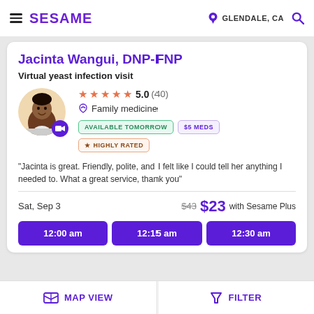SESAME   GLENDALE, CA
Jacinta Wangui, DNP-FNP
Virtual yeast infection visit
★★★★★ 5.0 (40) Family medicine
AVAILABLE TOMORROW   $5 MEDS   ★ HIGHLY RATED
"Jacinta is great. Friendly, polite, and I felt like I could tell her anything I needed to. What a great service, thank you"
Sat, Sep 3   $43  $23 with Sesame Plus
12:00 am   12:15 am   12:30 am
MAP VIEW   FILTER